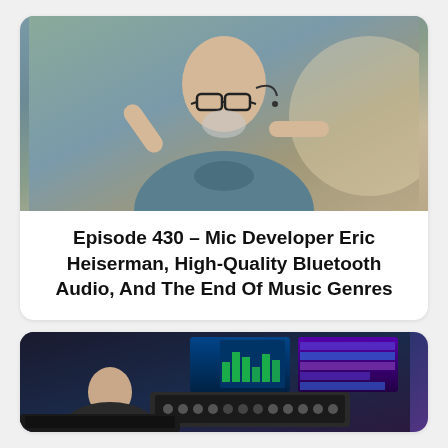[Figure (photo): Middle-aged bald man with glasses and a beard, wearing a teal shirt, pointing at his head with one hand and gesturing with another, with a headset mic visible]
Episode 430 – Mic Developer Eric Heiserman, High-Quality Bluetooth Audio, And The End Of Music Genres
[Figure (photo): Man in a dark t-shirt sitting in front of audio production equipment and multiple computer monitors showing colorful audio software]